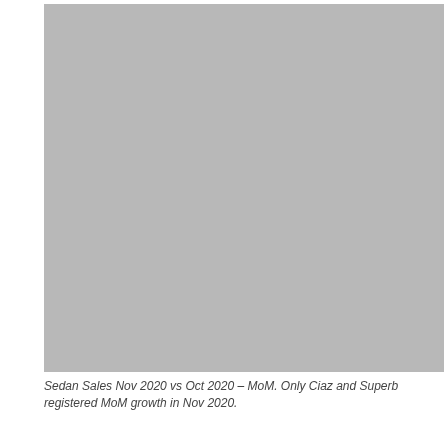[Figure (other): A grey placeholder image representing a bar chart of Sedan Sales Nov 2020 vs Oct 2020 MoM comparison]
Sedan Sales Nov 2020 vs Oct 2020 – MoM. Only Ciaz and Superb registered MoM growth in Nov 2020.